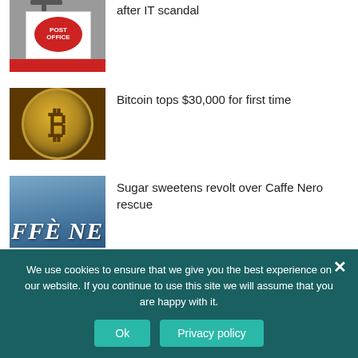[Figure (photo): Post Office sign hanging outside a building]
after IT scandal
[Figure (photo): Gold Bitcoin coin close-up]
Bitcoin tops $30,000 for first time
[Figure (photo): Caffe Nero shop front sign]
Sugar sweetens revolt over Caffe Nero rescue
We use cookies to ensure that we give you the best experience on our website. If you continue to use this site we will assume that you are happy with it.